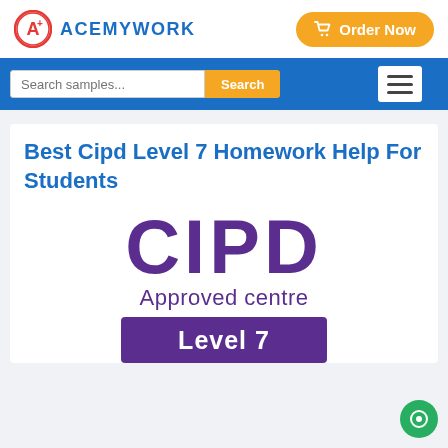ACEMYWORK
Best Cipd Level 7 Homework Help For Students
[Figure (logo): CIPD Approved centre Level 7 logo with purple branding]